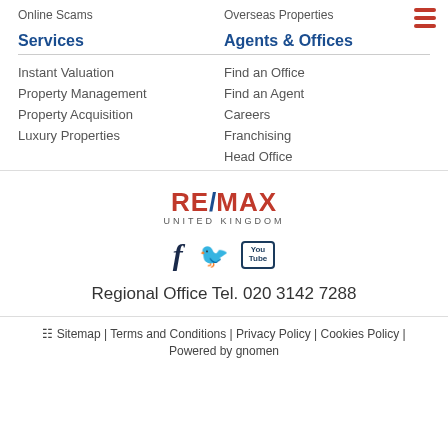Online Scams
Overseas Properties
Services
Agents & Offices
Instant Valuation
Property Management
Property Acquisition
Luxury Properties
Find an Office
Find an Agent
Careers
Franchising
Head Office
[Figure (logo): RE/MAX United Kingdom logo with red and blue branding]
[Figure (infographic): Social media icons: Facebook, Twitter, YouTube]
Regional Office Tel. 020 3142 7288
Sitemap | Terms and Conditions | Privacy Policy | Cookies Policy | Powered by gnomen